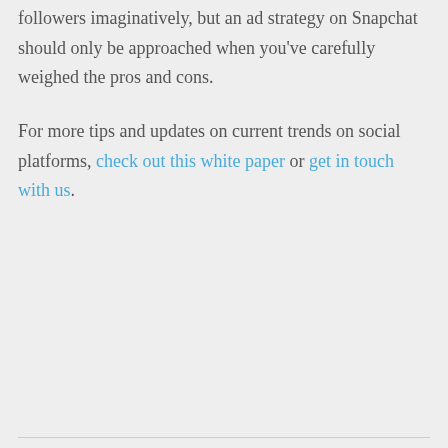followers imaginatively, but an ad strategy on Snapchat should only be approached when you've carefully weighed the pros and cons.
For more tips and updates on current trends on social platforms, check out this white paper or get in touch with us.